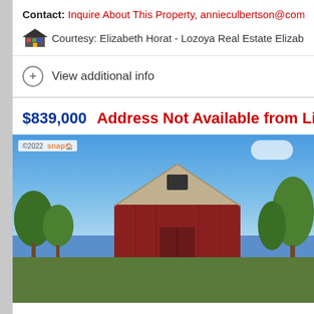Contact: Inquire About This Property, annieculbertson@comcast...
Courtesy: Elizabeth Horat - Lozoya Real Estate Elizabeth Ho...
View additional info
$839,000   Address Not Available from Listing Broker Pit...
[Figure (photo): Photo of a red barn with a metal roof under a blue sky, surrounded by green trees. A ©2022 watermark is visible in the top left corner of the photo.]